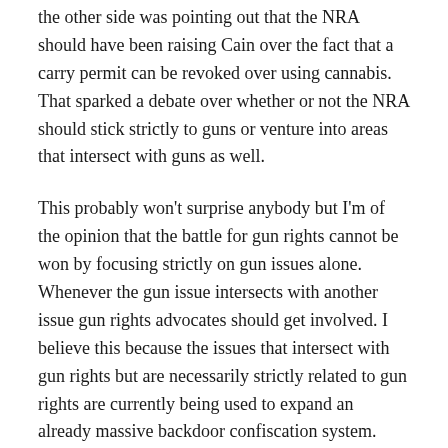the other side was pointing out that the NRA should have been raising Cain over the fact that a carry permit can be revoked over using cannabis. That sparked a debate over whether or not the NRA should stick strictly to guns or venture into areas that intersect with guns as well.
This probably won't surprise anybody but I'm of the opinion that the battle for gun rights cannot be won by focusing strictly on gun issues alone. Whenever the gun issue intersects with another issue gun rights advocates should get involved. I believe this because the issues that intersect with gun rights but are necessarily strictly related to gun rights are currently being used to expand an already massive backdoor confiscation system.
Outside of a few states like California and New York there is a lot of ground for the left to use after the...